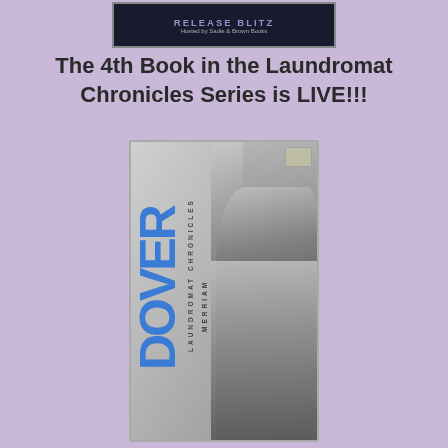[Figure (photo): Book blog tour banner image with dark background, text reading 'Release Blitz' and 'Hosted by Sadie & Brown Books']
The 4th Book in the Laundromat Chronicles Series is LIVE!!!
[Figure (photo): Book cover for 'Dover' by Merriam, part of the Laundromat Chronicles series. Black and white photo of a young man with beard leaning against laundromat washing machines. Title 'DOVER' in large blue vertical text on left spine, 'MERRIAM' and 'LAUNDROMAT CHRONICLES' in small vertical text.]